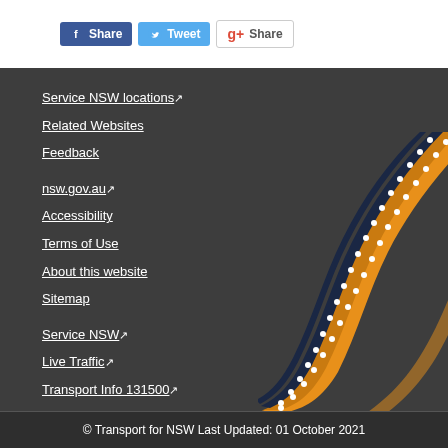[Figure (screenshot): Social sharing buttons: Facebook Share, Tweet, Google+ Share]
Service NSW locations↗
Related Websites
Feedback
nsw.gov.au↗
Accessibility
Terms of Use
About this website
Sitemap
Service NSW↗
Live Traffic↗
Transport Info 131500↗
Transport for NSW↗
[Figure (illustration): Aboriginal art decoration — curved ribbon-like design in orange, dark blue and white dots]
© Transport for NSW Last Updated: 01 October 2021